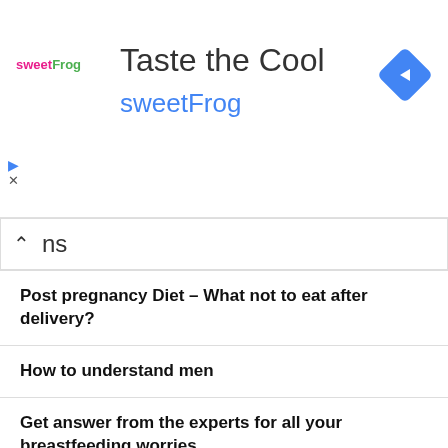[Figure (infographic): Advertisement banner for sweetFrog frozen yogurt: 'Taste the Cool / sweetFrog' with logo, navigation arrow icon, play and close controls]
ns
Post pregnancy Diet – What not to eat after delivery?
How to understand men
Get answer from the experts for all your breastfeeding worries
Reasons to avoid the instant noodles and keep healthy
How to use jeera / cumin for skin and health